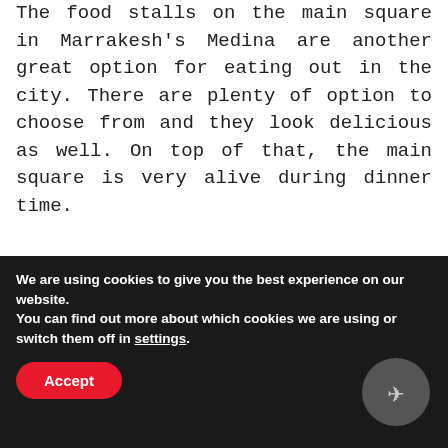The food stalls on the main square in Marrakesh's Medina are another great option for eating out in the city. There are plenty of option to choose from and they look delicious as well. On top of that, the main square is very alive during dinner time.
[Figure (photo): Night photo of a food market stall in Marrakesh's Medina. A vendor stands behind a colorful display of fruits and vegetables. The scene is lit by warm lights under a dark tent/canopy. Other people and market stalls visible in background.]
We are using cookies to give you the best experience on our website.
You can find out more about which cookies we are using or switch them off in settings.
Accept